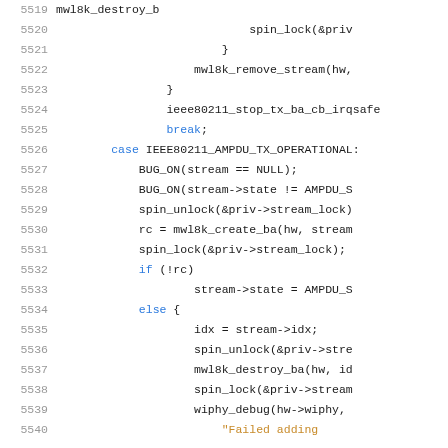[Figure (screenshot): Source code listing showing C/kernel code lines 5519-5540, with line numbers in gray, keywords in blue, strings in yellow/orange, on white background.]